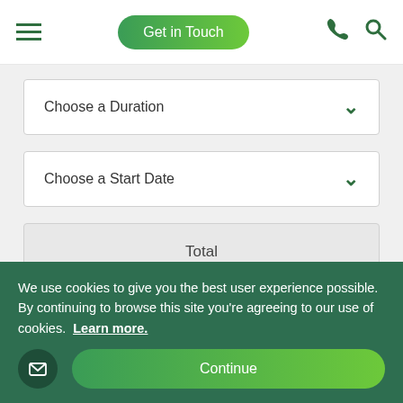Get in Touch
Choose a Duration
Choose a Start Date
Total
What's included in the price?
When you apply you only pay a $295 deposit, which comes off the total program fees.
We use cookies to give you the best user experience possible. By continuing to browse this site you're agreeing to our use of cookies. Learn more.
Continue